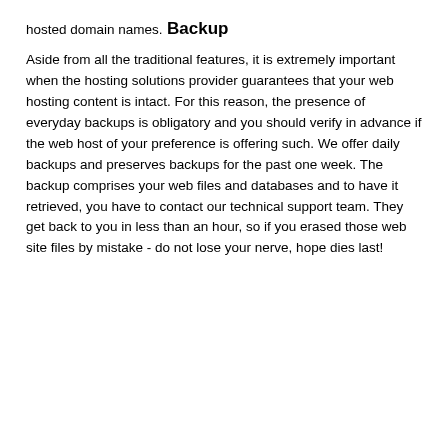hosted domain names.
Backup
Aside from all the traditional features, it is extremely important when the hosting solutions provider guarantees that your web hosting content is intact. For this reason, the presence of everyday backups is obligatory and you should verify in advance if the web host of your preference is offering such. We offer daily backups and preserves backups for the past one week. The backup comprises your web files and databases and to have it retrieved, you have to contact our technical support team. They get back to you in less than an hour, so if you erased those web site files by mistake - do not lose your nerve, hope dies last!